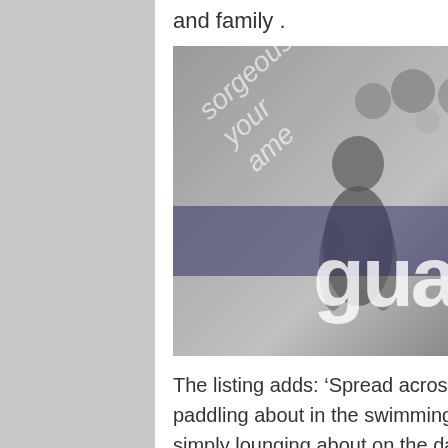and family .
[Figure (photo): Greyscale photograph of a Guardian newspaper / magazine cover shown at an angle, with decorative circular motifs, a barcode in the top right, text reading 'gorgeous your name' diagonally, a large 'guard' masthead, and 'ck on the m' at the bottom right.]
The listing adds: ‘Spread across 51 acres, guests can pass their afternoons paddling about in the swimming pool, getting competitive on the tennis court or simply lounging about on the daybeds with a glorious panorama of the Pacific Ocean and the surrounding